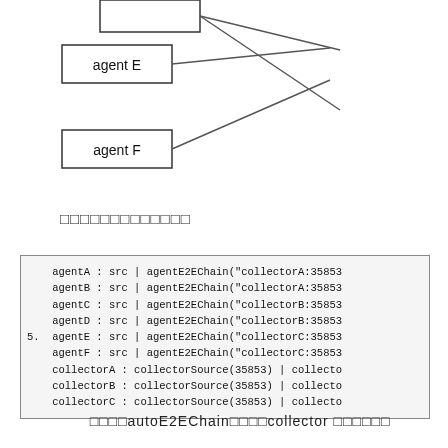[Figure (network-graph): Partial network diagram showing agent E and agent F nodes with lines connecting to something above/off-screen]
□□□□□□□□□□□□□
agentA : src | agentE2EChain("collectorA:35853
    agentB : src | agentE2EChain("collectorA:35853
    agentC : src | agentE2EChain("collectorB:35853
    agentD : src | agentE2EChain("collectorB:35853
5.  agentE : src | agentE2EChain("collectorC:35853
    agentF : src | agentE2EChain("collectorC:35853
    collectorA : collectorSource(35853) | collecto
    collectorB : collectorSource(35853) | collecto
    collectorC : collectorSource(35853) | collecto
□□□□autoE2EChain□□□□collector □□□□□□